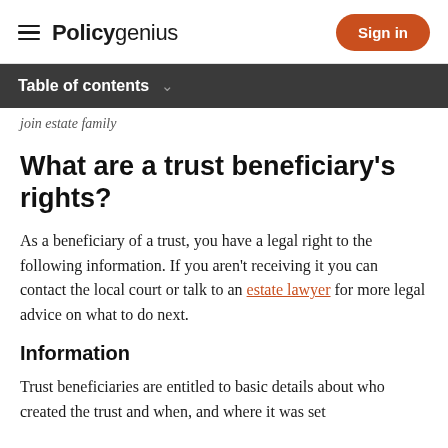Policygenius  Sign in
Table of contents
join estate family
What are a trust beneficiary's rights?
As a beneficiary of a trust, you have a legal right to the following information. If you aren't receiving it you can contact the local court or talk to an estate lawyer for more legal advice on what to do next.
Information
Trust beneficiaries are entitled to basic details about who created the trust and when, and where it was set